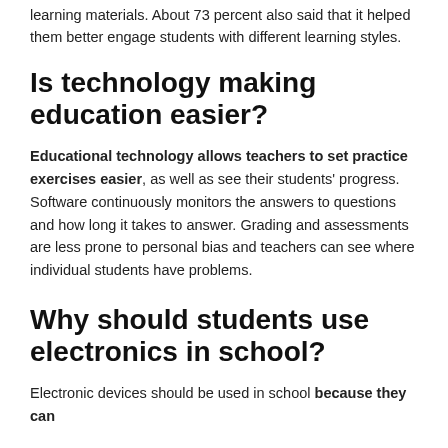learning materials. About 73 percent also said that it helped them better engage students with different learning styles.
Is technology making education easier?
Educational technology allows teachers to set practice exercises easier, as well as see their students' progress. Software continuously monitors the answers to questions and how long it takes to answer. Grading and assessments are less prone to personal bias and teachers can see where individual students have problems.
Why should students use electronics in school?
Electronic devices should be used in school because they can